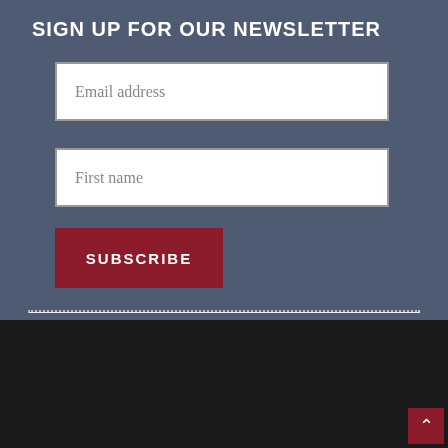SIGN UP FOR OUR NEWSLETTER
Email address
First name
SUBSCRIBE
©2022 Austin Film Festival · Austin Film Festival is a Not for Profit · Site by: BetBay · Custom Icons & base colors by Mosik · Sponsors · Privacy Store & Refund Policy · AFF Policies · Contact · Map · On Story